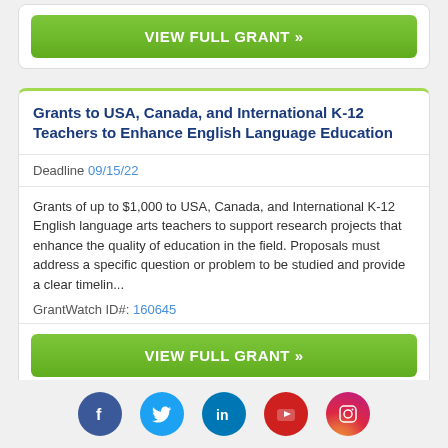VIEW FULL GRANT »
Grants to USA, Canada, and International K-12 Teachers to Enhance English Language Education
Deadline 09/15/22
Grants of up to $1,000 to USA, Canada, and International K-12 English language arts teachers to support research projects that enhance the quality of education in the field. Proposals must address a specific question or problem to be studied and provide a clear timelin...
GrantWatch ID#: 160645
VIEW FULL GRANT »
[Figure (infographic): Social media icons row: Facebook (blue circle), Twitter (light blue circle), LinkedIn (dark blue circle), YouTube (red circle), Instagram (gradient circle)]